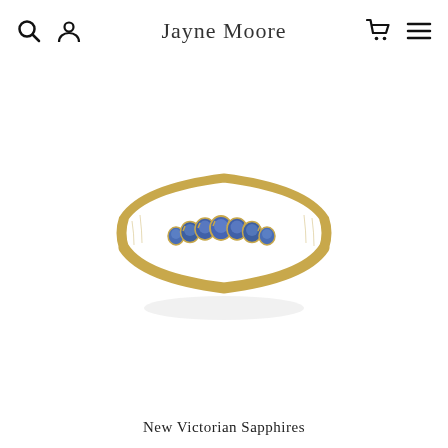Jayne Moore
[Figure (photo): A delicate gold band ring set with a row of seven round blue sapphires in the center, displayed on a white background. The band has a fine textured edge detail. The sapphires graduate slightly in size from center outward.]
New Victorian Sapphires